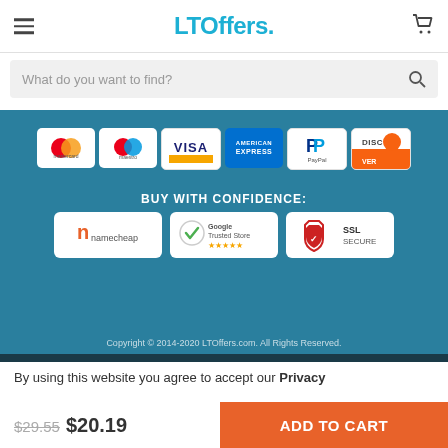LTOffers.
What do you want to find?
[Figure (infographic): Payment method logos: Mastercard, Maestro, Visa, American Express, PayPal, Discover displayed in white rounded cards on a teal background]
BUY WITH CONFIDENCE:
[Figure (infographic): Trust badges: Namecheap, Google Trusted Store, SSL Secure displayed in white rounded cards]
Copyright © 2014-2020 LTOffers.com. All Rights Reserved.
By using this website you agree to accept our Privacy
$29.55 $20.19
ADD TO CART